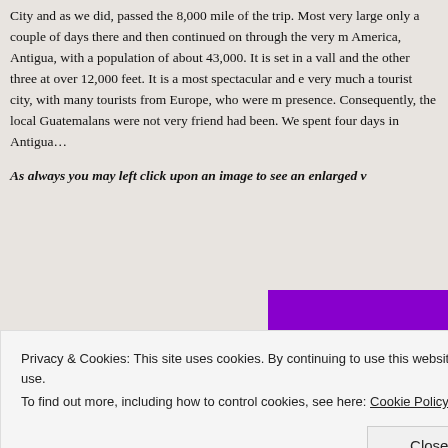City and as we did, passed the 8,000 mile of the trip. Most very large... only a couple of days there and then continued on through the very m... America, Antigua, with a population of about 43,000. It is set in a vall... and the other three at over 12,000 feet. It is a most spectacular and... very much a tourist city, with many tourists from Europe, who were m... presence. Consequently, the local Guatemalans were not very friend... had been. We spent four days in Antigua…
As always you may left click upon an image to see an enlarged v...
[Figure (photo): Partial view of a purple/violet colored image, partially obscured by cookie consent banner]
Privacy & Cookies: This site uses cookies. By continuing to use this website, you agree to their use.
To find out more, including how to control cookies, see here: Cookie Policy

Close and accept